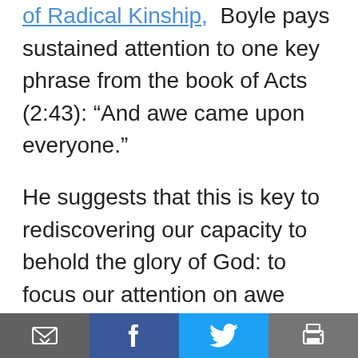of Radical Kinship,  Boyle pays sustained attention to one key phrase from the book of Acts (2:43): “And awe came upon everyone.”
He suggests that this is key to rediscovering our capacity to behold the glory of God: to focus our attention on awe rather than judgment, on the remarkable gifts of God even in the midst of brokenness and suffering. Boyle quotes Julian of Norwich on the centrality of awe, humility and love in developing intimacy with God. He then notes that we often forget about the importance
[Email] [Facebook] [Twitter] [Print]